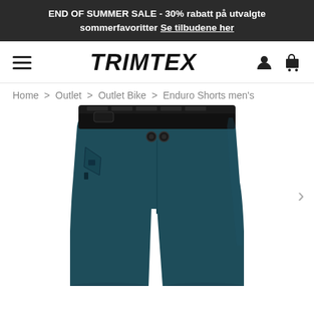END OF SUMMER SALE - 30% rabatt på utvalgte sommerfavoritter Se tilbudene her
[Figure (logo): Trimtex logo with hamburger menu and cart/user icons in navigation bar]
Home > Outlet > Outlet Bike > Enduro Shorts men's
[Figure (photo): Dark teal/navy Enduro bike shorts shown from front, with black waistband lining, snap buttons, and zipper pocket on left side]